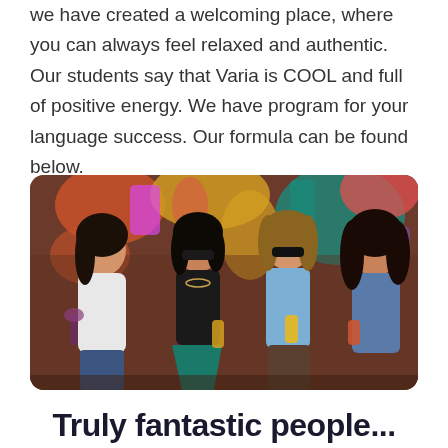we have created a welcoming place, where you can always feel relaxed and authentic. Our students say that Varia is COOL and full of positive energy. We have program for your language success. Our formula can be found below.
[Figure (photo): Four young women socializing and laughing in front of a colorful graffiti wall, holding drinks (wine glass, beer glasses). They are dressed casually — one in a white t-shirt, one in a black halter top with a teal skirt, one in a light blue shirt, and one in a denim jacket. The background is vibrant with colorful abstract mural art.]
Truly fantastic people...